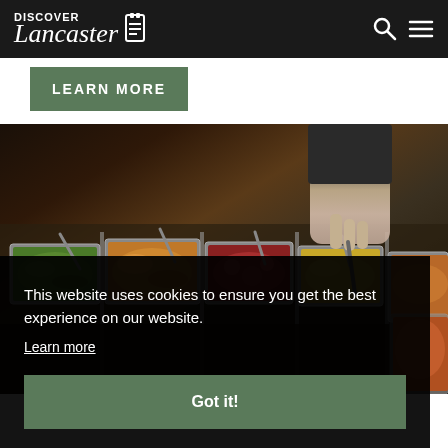Discover Lancaster — navigation bar with logo, search icon, and menu icon
LEARN MORE
[Figure (photo): Buffet food service station with multiple metal trays of cooked vegetables and dishes, a gloved hand reaching to serve food]
This website uses cookies to ensure you get the best experience on our website.
Learn more
Got it!